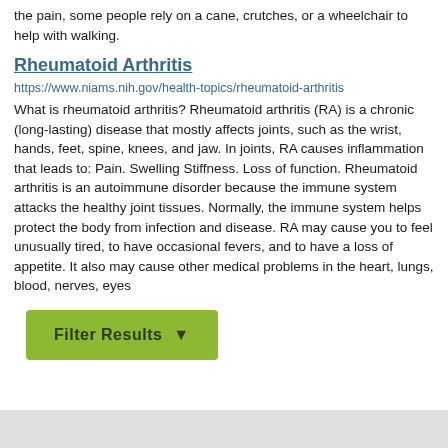the pain, some people rely on a cane, crutches, or a wheelchair to help with walking.
Rheumatoid Arthritis
https://www.niams.nih.gov/health-topics/rheumatoid-arthritis
What is rheumatoid arthritis? Rheumatoid arthritis (RA) is a chronic (long-lasting) disease that mostly affects joints, such as the wrist, hands, feet, spine, knees, and jaw. In joints, RA causes inflammation that leads to: Pain. Swelling Stiffness. Loss of function. Rheumatoid arthritis is an autoimmune disorder because the immune system attacks the healthy joint tissues. Normally, the immune system helps protect the body from infection and disease. RA may cause you to feel unusually tired, to have occasional fevers, and to have a loss of appetite. It also may cause other medical problems in the heart, lungs, blood, nerves, eyes
[Figure (other): Filter Results button with funnel icon, olive/green background]